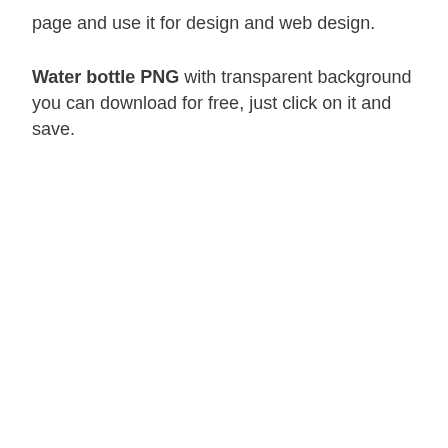page and use it for design and web design.
Water bottle PNG with transparent background you can download for free, just click on it and save.